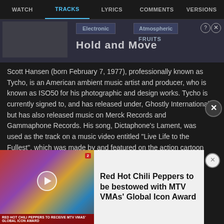WATCH | TRACKS | LYRICS | COMMENTS | VERSIONS
[Figure (screenshot): Ad banner with Electronic and Atmospheric tags, Hold and Move text overlay]
Scott Hansen (born February 7, 1977), professionally known as Tycho, is an American ambient music artist and producer, who is known as ISO50 for his photographic and design works. Tycho is currently signed to, and has released under, Ghostly International, but has also released music on Merck Records and Gammaphone Records. His song, Dictaphone's Lament, was used as the track on a music video entitled "Live Life to the Fullest", which was made by and featured on the action cartoon block Toonami. Read Full Bio
[Figure (photo): Red Hot Chili Peppers band photo with play button overlay and news ticker. Text: RED HOT CHILI PEPPERS TO RECEIVE MTV VMAS' GLOBAL ICON AWARD]
Red Hot Chili Peppers to be bestowed with MTV VMAs' Global Icon Award